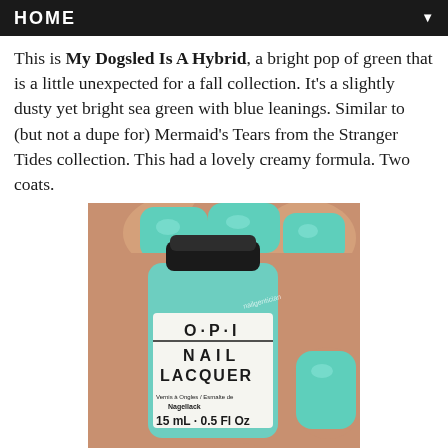HOME
This is My Dogsled Is A Hybrid, a bright pop of green that is a little unexpected for a fall collection. It's a slightly dusty yet bright sea green with blue leanings. Similar to (but not a dupe for) Mermaid's Tears from the Stranger Tides collection. This had a lovely creamy formula. Two coats.
[Figure (photo): A hand with nails painted in a bright minty sea green color (OPI My Dogsled Is A Hybrid), holding an OPI Nail Lacquer bottle in the same color. The bottle label reads: O·P·I NAIL LACQUER, Vernis à Ongles / Esmalte de Nagellack, 15 mL · 0.5 Fl Oz]